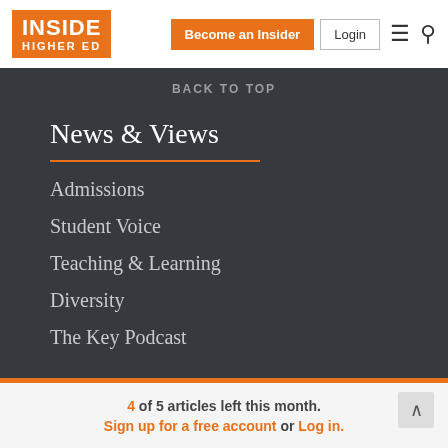INSIDE HIGHER ED | Become an Insider | Login
BACK TO TOP
News & Views
Admissions
Student Voice
Teaching & Learning
Diversity
The Key Podcast
4 of 5 articles left this month. Sign up for a free account or Log in.